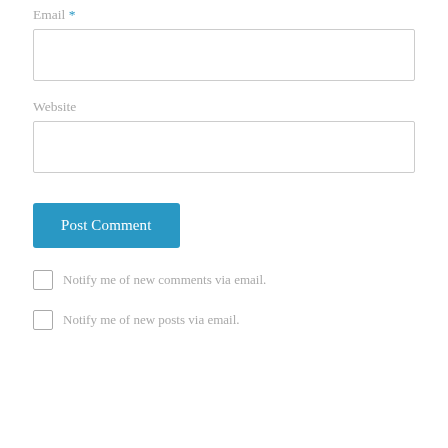Email *
[Figure (other): Empty text input box for Email field]
Website
[Figure (other): Empty text input box for Website field]
Post Comment
Notify me of new comments via email.
Notify me of new posts via email.